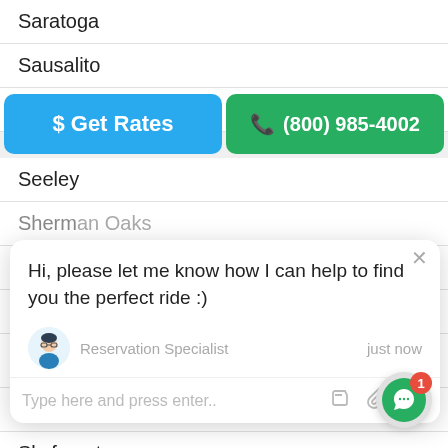Saratoga
Sausalito
Seal Beach
[Figure (screenshot): Two buttons: blue '$ Get Rates' and green phone '(800) 985-4002']
Seeley
Sherman Oaks (partially hidden)
Shingle (partially hidden)
Shoshone (partially hidden)
[Figure (screenshot): Chat popup with avatar, message 'Hi, please let me know how I can help to find you the perfect ride :)', Reservation Specialist, just now, and input bar]
Silverado
Simi Valley
Skyforest
Smartsville
Solana Beach
Somis
Sonoma